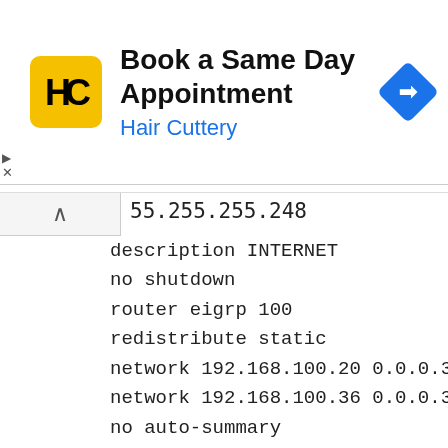[Figure (screenshot): Hair Cuttery advertisement banner with logo, title 'Book a Same Day Appointment', subtitle 'Hair Cuttery', and navigation arrow icon]
255.255.255.248
  description INTERNET
  no shutdown
  router eigrp 100
  redistribute static
  network 192.168.100.20 0.0.0.3
  network 192.168.100.36 0.0.0.3
  no auto-summary
  ip access-list standard telnetBlock
  permit host 198.51.100.5
  access-list 101 permit icmp
  198.51.100.5 0.0.0.0 any echo
  access-list 101 deny icmp any any
  echo